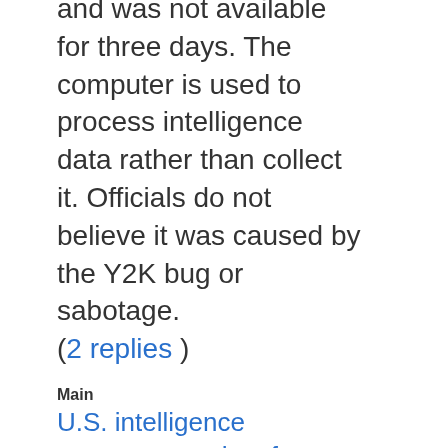and was not available for three days. The computer is used to process intelligence data rather than collect it. Officials do not believe it was caused by the Y2K bug or sabotage. (2 replies )
Main
U.S. intelligence computer crashes for nearly 3 days
By crypto
Sun Jan 30, 2000 01:27 PM
CNN reports that an NSA computer crashed and was not available